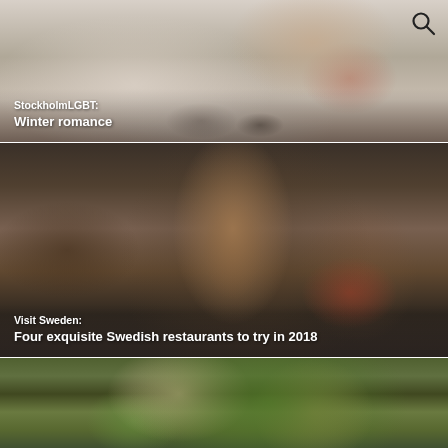[Figure (photo): Close-up photo of chocolates and a bowl with berries/fruit on a decorative surface, with text overlay 'StockholmLGBT: Winter romance']
[Figure (photo): Man in a blue suit holding a glass of red wine in a restaurant setting, with text overlay 'Visit Sweden: Four exquisite Swedish restaurants to try in 2018']
[Figure (photo): Two people wearing flower crowns outdoors among greenery, partially visible]